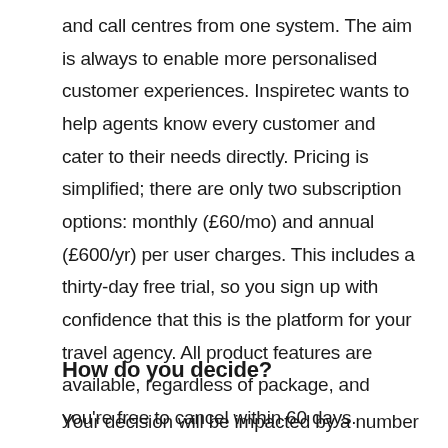and call centres from one system. The aim is always to enable more personalised customer experiences. Inspiretec wants to help agents know every customer and cater to their needs directly. Pricing is simplified; there are only two subscription options: monthly (£60/mo) and annual (£600/yr) per user charges. This includes a thirty-day free trial, so you sign up with confidence that this is the platform for your travel agency. All product features are available, regardless of package, and you're free to cancel within 60 days.
How do you decide?
Your decision will be impacted by a number of